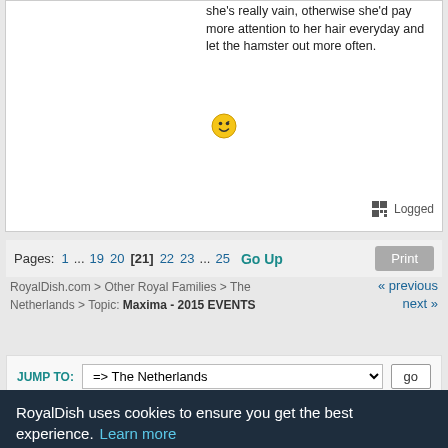she's really vain, otherwise she'd pay more attention to her hair everyday and let the hamster out more often.
Logged
Pages: 1 ... 19 20 [21] 22 23 ... 25  Go Up
« previous
next »
RoyalDish.com > Other Royal Families > The Netherlands > Topic: Maxima - 2015 EVENTS
JUMP TO:  => The Netherlands   go
RoyalDish uses cookies to ensure you get the best experience.  Learn more
Got it!